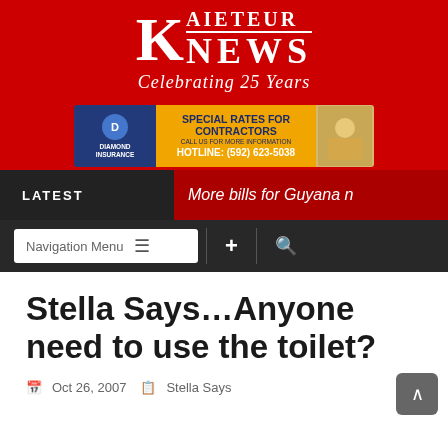[Figure (logo): Kaieteur News logo - large red background with white serif K and KAIETEUR NEWS text, Celebrating 25 Years italic subtitle]
[Figure (infographic): Diamond Insurance advertisement banner - Special Rates for Contractors, Hotline: (592) 623-5038]
[Figure (screenshot): LATEST news ticker bar showing: More bills for Guyana]
[Figure (screenshot): Navigation bar with Navigation Menu button, hamburger icon, + and search icons]
Stella Says…Anyone need to use the toilet?
Oct 26, 2007   Stella Says